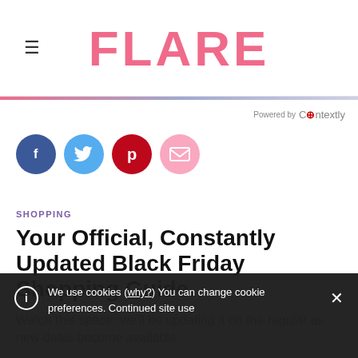FLARE
Powered by Contextly
[Figure (infographic): Social sharing icons: Facebook (dark blue circle with f), Twitter (light blue circle with bird), Pinterest (dark red circle with p), Email (pink circle with envelope)]
SHOPPING
Your Official, Constantly Updated Black Friday Shopping Guide
Watch this space: we'll be updating it on the regular as new deals become available
We use cookies (why?) You can change cookie preferences. Continued site use